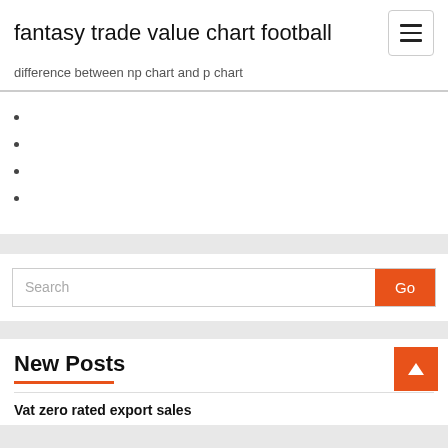fantasy trade value chart football
difference between np chart and p chart
Search
New Posts
Vat zero rated export sales